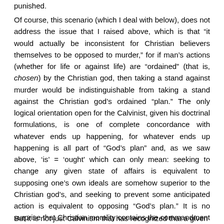punished.
Of course, this scenario (which I deal with below), does not address the issue that I raised above, which is that “it would actually be inconsistent for Christian believers themselves to be opposed to murder,” for if man’s actions (whether for life or against life) are “ordained” (that is, chosen) by the Christian god, then taking a stand against murder would be indistinguishable from taking a stand against the Christian god’s ordained “plan.” The only logical orientation open for the Calvinist, given his doctrinal formulations, is one of complete concordance with whatever ends up happening, for whatever ends up happening is all part of “God’s plan” and, as we saw above, ‘is’ = ‘ought’ which can only mean: seeking to change any given state of affairs is equivalent to supposing one’s own ideals are somehow superior to the Christian god’s, and seeking to prevent some anticipated action is equivalent to opposing “God’s plan.” It is no surprise that Christian morality contains the commandment “resist not evil” (Mt. 5:39), for any act of resisting evil would be an act of opposing the Christian god’s will.
But it is not just Calvinism that has recognized that a given